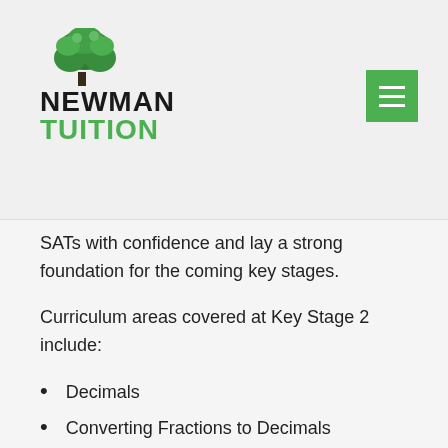[Figure (logo): Newman Tuition logo with tree graphic and green/black text]
SATs with confidence and lay a strong foundation for the coming key stages.
Curriculum areas covered at Key Stage 2 include:
Decimals
Converting Fractions to Decimals
Multiplication and Division
Operations
Percentages
Mental Arithmetic
Problem Solving